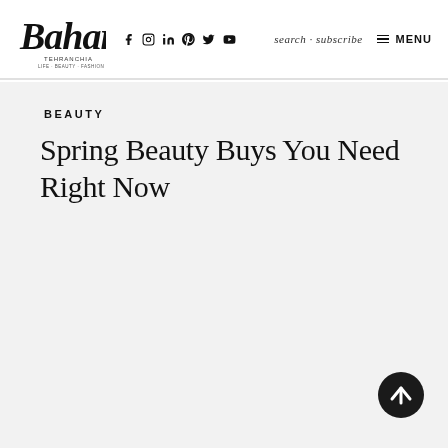[Figure (logo): Bahar Tehranchia cursive script logo with small subtitle text beneath]
f  in  p  twitter  youtube  search · subscribe  MENU
BEAUTY
Spring Beauty Buys You Need Right Now
[Figure (illustration): Dark circular scroll-to-top button with upward arrow icon]